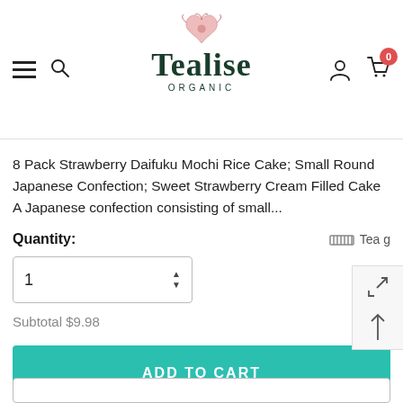[Figure (logo): Tealise Organic logo with decorative botanical emblem above the brand name]
8 Pack Strawberry Daifuku Mochi Rice Cake; Small Round Japanese Confection; Sweet Strawberry Cream Filled Cake A Japanese confection consisting of small...
Quantity:
Tea g
1
Subtotal $9.98
ADD TO CART